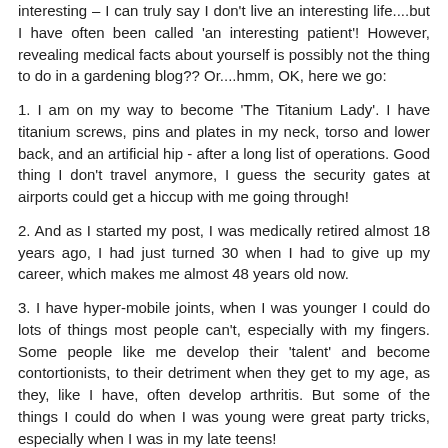interesting – I can truly say I don't live an interesting life....but I have often been called 'an interesting patient'! However, revealing medical facts about yourself is possibly not the thing to do in a gardening blog?? Or....hmm, OK, here we go:
1. I am on my way to become 'The Titanium Lady'. I have titanium screws, pins and plates in my neck, torso and lower back, and an artificial hip - after a long list of operations. Good thing I don't travel anymore, I guess the security gates at airports could get a hiccup with me going through!
2. And as I started my post, I was medically retired almost 18 years ago, I had just turned 30 when I had to give up my career, which makes me almost 48 years old now.
3. I have hyper-mobile joints, when I was younger I could do lots of things most people can't, especially with my fingers. Some people like me develop their 'talent' and become contortionists, to their detriment when they get to my age, as they, like I have, often develop arthritis. But some of the things I could do when I was young were great party tricks, especially when I was in my late teens!